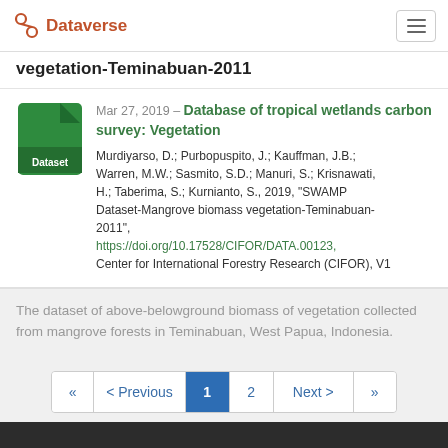Dataverse
vegetation-Teminabuan-2011
[Figure (logo): Green dataset file icon with white 'Dataset' label]
Mar 27, 2019 – Database of tropical wetlands carbon survey: Vegetation
Murdiyarso, D.; Purbopuspito, J.; Kauffman, J.B.; Warren, M.W.; Sasmito, S.D.; Manuri, S.; Krisnawati, H.; Taberima, S.; Kurnianto, S., 2019, "SWAMP Dataset-Mangrove biomass vegetation-Teminabuan-2011", https://doi.org/10.17528/CIFOR/DATA.00123, Center for International Forestry Research (CIFOR), V1
The dataset of above-belowground biomass of vegetation collected from mangrove forests in Teminabuan, West Papua, Indonesia.